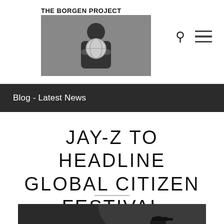THE BORGEN PROJECT
[Figure (logo): The Borgen Project logo: person holding a globe, black and white photo]
Blog - Latest News
JAY-Z TO HEADLINE GLOBAL CITIZEN FESTIVAL
[Figure (photo): Black and white photo of Jay-Z performing on stage, pointing with one hand and holding a microphone with the other, wearing a cap]